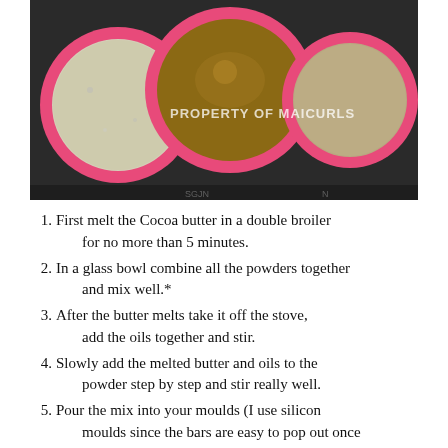[Figure (photo): Three round pink silicone molds on a dark tray, filled with different colored mixtures (white/gray, brown, and tan), with watermark text 'PROPERTY OF MAICURLS' across the center.]
First melt the Cocoa butter in a double broiler for no more than 5 minutes.
In a glass bowl combine all the powders together and mix well.*
After the butter melts take it off the stove, add the oils together and stir.
Slowly add the melted butter and oils to the powder step by step and stir really well.
Pour the mix into your moulds (I use silicon moulds since the bars are easy to pop out once